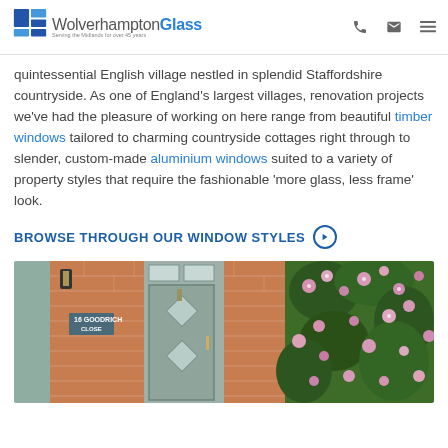Wolverhampton Glass
quintessential English village nestled in splendid Staffordshire countryside. As one of England's largest villages, renovation projects we've had the pleasure of working on here range from beautiful timber windows tailored to charming countryside cottages right through to slender, custom-made aluminium windows suited to a variety of property styles that require the fashionable 'more glass, less frame' look.
BROWSE THROUGH OUR WINDOW STYLES
[Figure (photo): Photo of a front door at 16 Goodrich Close, a grey composite door with decorative glass panels and diamond leaded lights, set in a red brick facade, with a hanging basket of pink flowers on the right]